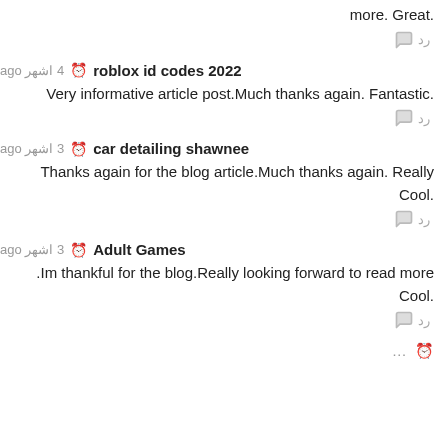.more. Great
رد 💬
roblox id codes 2022  🕐 4 اشهر ago
.Very informative article post.Much thanks again. Fantastic
رد 💬
car detailing shawnee  🕐 3 اشهر ago
Thanks again for the blog article.Much thanks again. Really .Cool
رد 💬
Adult Games  🕐 3 اشهر ago
Im thankful for the blog.Really looking forward to read more. .Cool
رد 💬
…